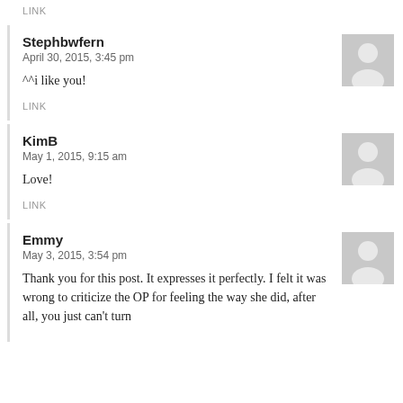LINK
Stephbwfern
April 30, 2015, 3:45 pm
^^i like you!
LINK
KimB
May 1, 2015, 9:15 am
Love!
LINK
Emmy
May 3, 2015, 3:54 pm
Thank you for this post. It expresses it perfectly. I felt it was wrong to criticize the OP for feeling the way she did, after all, you just can't turn